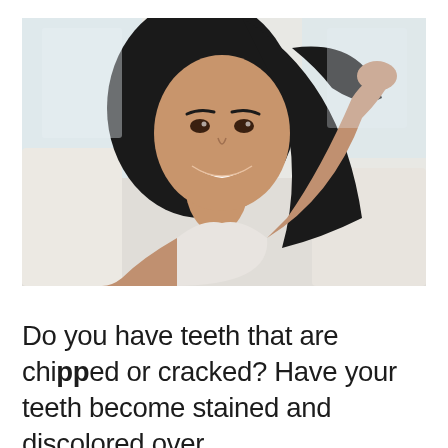[Figure (photo): A young woman with long dark hair smiling brightly, resting her hand on her head, seated on a white couch in a bright indoor setting.]
Do you have teeth that are chipped or cracked? Have your teeth become stained and discolored over